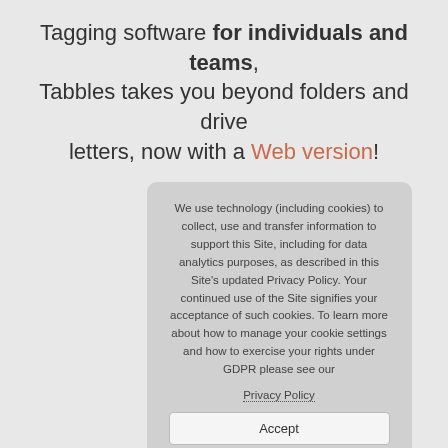Tagging software for individuals and teams, Tabbles takes you beyond folders and drive letters, now with a Web version!
We use technology (including cookies) to collect, use and transfer information to support this Site, including for data analytics purposes, as described in this Site's updated Privacy Policy. Your continued use of the Site signifies your acceptance of such cookies. To learn more about how to manage your cookie settings and how to exercise your rights under GDPR please see our Privacy Policy Accept
tag any file